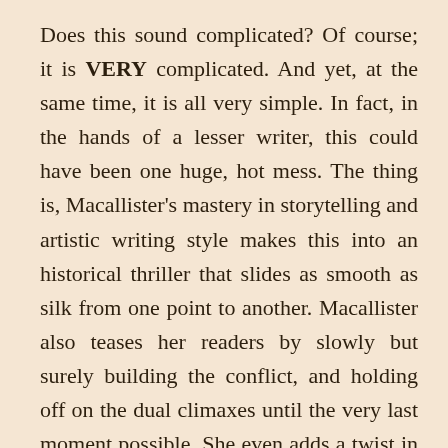Does this sound complicated? Of course; it is VERY complicated. And yet, at the same time, it is all very simple. In fact, in the hands of a lesser writer, this could have been one huge, hot mess. The thing is, Macallister's mastery in storytelling and artistic writing style makes this into an historical thriller that slides as smooth as silk from one point to another. Macallister also teases her readers by slowly but surely building the conflict, and holding off on the dual climaxes until the very last moment possible. She even adds a twist in the end that's such a punch in the gut, it almost had me in tears! But what really makes this book work on all levels, is how Macallister is able to turn a